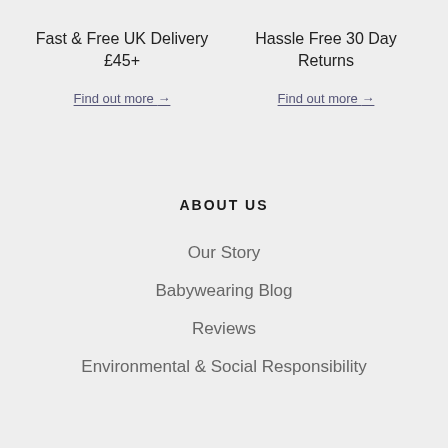Fast & Free UK Delivery £45+
Find out more →
Hassle Free 30 Day Returns
Find out more →
ABOUT US
Our Story
Babywearing Blog
Reviews
Environmental & Social Responsibility